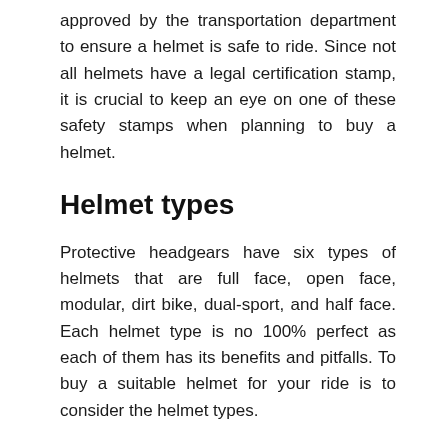approved by the transportation department to ensure a helmet is safe to ride. Since not all helmets have a legal certification stamp, it is crucial to keep an eye on one of these safety stamps when planning to buy a helmet.
Helmet types
Protective headgears have six types of helmets that are full face, open face, modular, dirt bike, dual-sport, and half face. Each helmet type is no 100% perfect as each of them has its benefits and pitfalls. To buy a suitable helmet for your ride is to consider the helmet types.
Materials
Materials come into consideration, as you want a helmet that will protect your head from the crash.